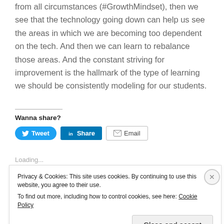from all circumstances (#GrowthMindset), then we see that the technology going down can help us see the areas in which we are becoming too dependent on the tech. And then we can learn to rebalance those areas. And the constant striving for improvement is the hallmark of the type of learning we should be consistently modeling for our students.
Wanna share?
[Figure (other): Social share buttons: Tweet (Twitter/blue), Share (LinkedIn/blue), Email (grey outline)]
Loading...
Privacy & Cookies: This site uses cookies. By continuing to use this website, you agree to their use. To find out more, including how to control cookies, see here: Cookie Policy
Close and accept